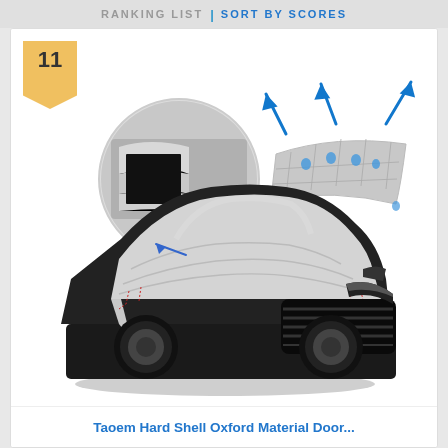RANKING LIST | SORT BY SCORES
[Figure (photo): Product listing card showing rank 11 badge, a car cover product image of a silver car cover draped over a black sedan (Audi-style), and a detail inset showing the cover material closeup in a circle, plus a diagram showing waterproof breathable material with water droplets and arrows]
Taoem Hard Shell Oxford Material Door...